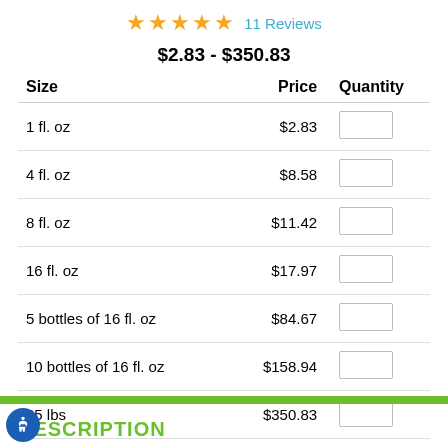[Figure (other): Five gold star rating icons followed by '11 Reviews' link]
$2.83 - $350.83
| Size | Price | Quantity |
| --- | --- | --- |
| 1 fl. oz | $2.83 |  |
| 4 fl. oz | $8.58 |  |
| 8 fl. oz | $11.42 |  |
| 16 fl. oz | $17.97 |  |
| 5 bottles of 16 fl. oz | $84.67 |  |
| 10 bottles of 16 fl. oz | $158.94 |  |
| 25 lbs | $350.83 |  |
[Figure (other): Blue BUY NOW button]
DESCRIPTION
[Figure (other): Accessibility icon (white figure on blue circle)]